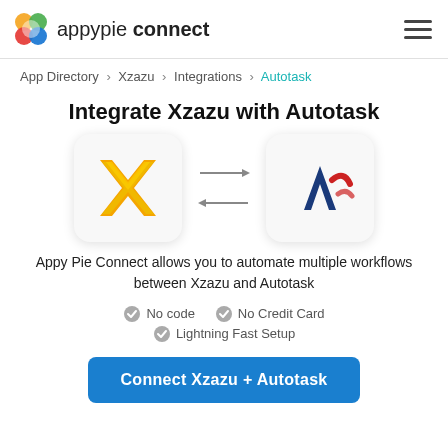appypie connect
App Directory > Xzazu > Integrations > Autotask
Integrate Xzazu with Autotask
[Figure (logo): Xzazu logo (gold X) and Autotask logo (blue A with red checkmark) with bidirectional arrows between them]
Appy Pie Connect allows you to automate multiple workflows between Xzazu and Autotask
No code   No Credit Card   Lightning Fast Setup
Connect Xzazu + Autotask